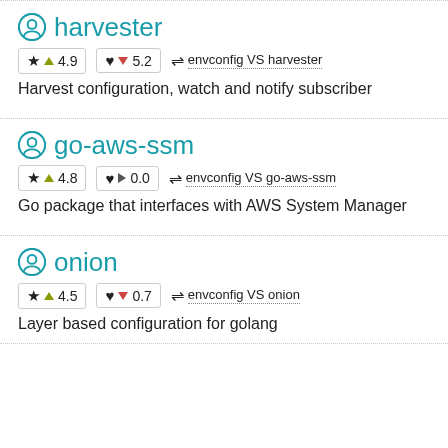harvester
★ ▲ 4.9   ♥ ▼ 5.2   ⇌ envconfig VS harvester
Harvest configuration, watch and notify subscriber
go-aws-ssm
★ ▲ 4.8   ♥ ▶ 0.0   ⇌ envconfig VS go-aws-ssm
Go package that interfaces with AWS System Manager
onion
★ ▲ 4.5   ♥ ▼ 0.7   ⇌ envconfig VS onion
Layer based configuration for golang